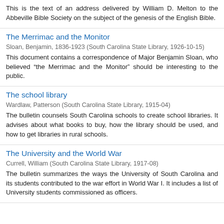This is the text of an address delivered by William D. Melton to the Abbeville Bible Society on the subject of the genesis of the English Bible.
The Merrimac and the Monitor
Sloan, Benjamin, 1836-1923 (South Carolina State Library, 1926-10-15)
This document contains a correspondence of Major Benjamin Sloan, who believed “the Merrimac and the Monitor” should be interesting to the public.
The school library
Wardlaw, Patterson (South Carolina State Library, 1915-04)
The bulletin counsels South Carolina schools to create school libraries. It advises about what books to buy, how the library should be used, and how to get libraries in rural schools.
The University and the World War
Currell, William (South Carolina State Library, 1917-08)
The bulletin summarizes the ways the University of South Carolina and its students contributed to the war effort in World War I. It includes a list of University students commissioned as officers.